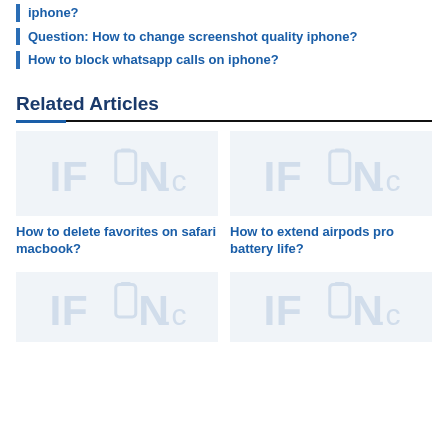iphone?
Question: How to change screenshot quality iphone?
How to block whatsapp calls on iphone?
Related Articles
[Figure (logo): IFON.ca watermark logo placeholder for article thumbnail (How to delete favorites on safari macbook?)]
How to delete favorites on safari macbook?
[Figure (logo): IFON.ca watermark logo placeholder for article thumbnail (How to extend airpods pro battery life?)]
How to extend airpods pro battery life?
[Figure (logo): IFON.ca watermark logo placeholder for article thumbnail (bottom left, partially visible)]
[Figure (logo): IFON.ca watermark logo placeholder for article thumbnail (bottom right, partially visible)]